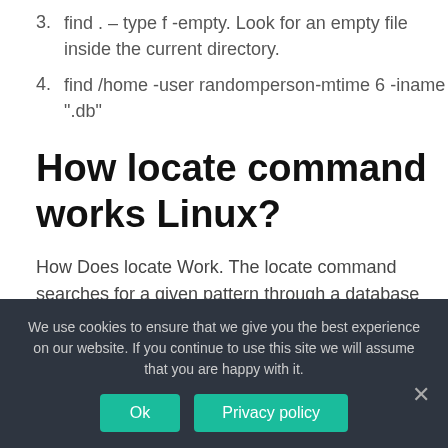3. find . – type f -empty. Look for an empty file inside the current directory.
4. find /home -user randomperson-mtime 6 -iname ".db"
How locate command works Linux?
How Does locate Work. The locate command searches for a given pattern through a database file that is generated by the updatedb command. The found results are displayed on the screen, one per line. During the
We use cookies to ensure that we give you the best experience on our website. If you continue to use this site we will assume that you are happy with it.